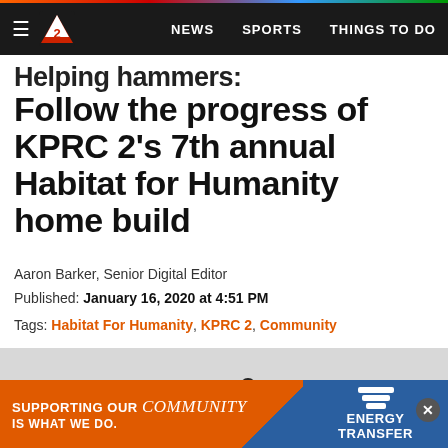NEWS | SPORTS | THINGS TO DO
Helping hammers: Follow the progress of KPRC 2's 7th annual Habitat for Humanity home build
Aaron Barker, Senior Digital Editor
Published: January 16, 2020 at 4:51 PM
Tags: Habitat For Humanity, KPRC 2, Community
[Figure (photo): People working on construction site, seen from above, partially cut off at bottom of page]
[Figure (infographic): Advertisement banner: SUPPORTING OUR community IS WHAT WE DO. - Energy Transfer sponsor ad with orange and blue background]